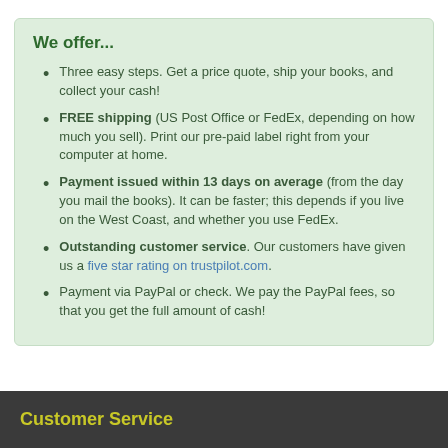We offer...
Three easy steps. Get a price quote, ship your books, and collect your cash!
FREE shipping (US Post Office or FedEx, depending on how much you sell). Print our pre-paid label right from your computer at home.
Payment issued within 13 days on average (from the day you mail the books). It can be faster; this depends if you live on the West Coast, and whether you use FedEx.
Outstanding customer service. Our customers have given us a five star rating on trustpilot.com.
Payment via PayPal or check. We pay the PayPal fees, so that you get the full amount of cash!
Customer Service